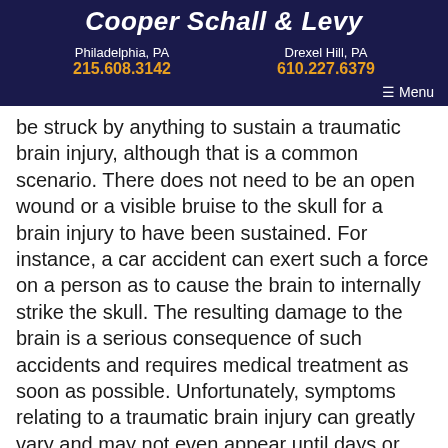Cooper Schall & Levy
Philadelphia, PA 215.608.3142
Drexel Hill, PA 610.227.6379
Menu
be struck by anything to sustain a traumatic brain injury, although that is a common scenario. There does not need to be an open wound or a visible bruise to the skull for a brain injury to have been sustained. For instance, a car accident can exert such a force on a person as to cause the brain to internally strike the skull. The resulting damage to the brain is a serious consequence of such accidents and requires medical treatment as soon as possible. Unfortunately, symptoms relating to a traumatic brain injury can greatly vary and may not even appear until days or even weeks after an accident occurs.